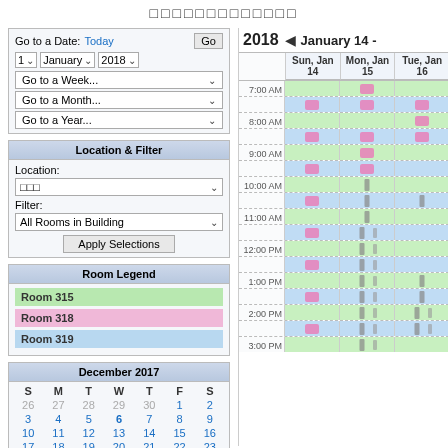□□□□□□□□□□□□□
Go to a Date: Today | Go | 1 ∨ | January ∨ | 2018 ∨ | Go to a Week... ∨ | Go to a Month... ∨ | Go to a Year... ∨
Location & Filter
Location: □□□ ∨ Filter: All Rooms in Building ∨
Apply Selections
Room Legend
Room 315
Room 318
Room 319
December 2017
| S | M | T | W | T | F | S |
| --- | --- | --- | --- | --- | --- | --- |
| 26 | 27 | 28 | 29 | 30 | 1 | 2 |
| 3 | 4 | 5 | 6 | 7 | 8 | 9 |
| 10 | 11 | 12 | 13 | 14 | 15 | 16 |
| 17 | 18 | 19 | 20 | 21 | 22 | 23 |
| 24 | 25 | 26 | 27 | 28 | 29 | 30 |
| 31 | 1 | 2 | 3 | 4 | 5 | 6 |
[Figure (screenshot): Weekly calendar grid showing January 14-16 2018 (Sun Jan 14, Mon Jan 15, Tue Jan 16) with time slots from 7:00 AM to 3:00 PM. Rooms 315 (green), 318 (pink), and 319 (blue) availability shown in colored blocks. Some booked/busy slots shown as dark marks.]